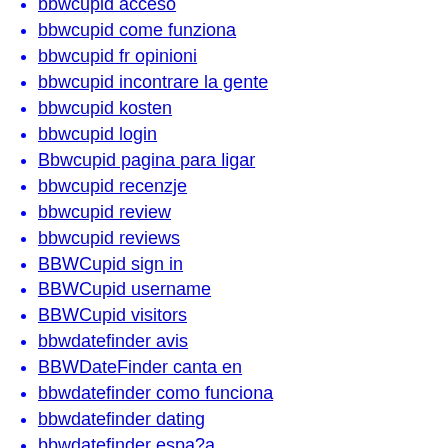bbwcupid acceso
bbwcupid come funziona
bbwcupid fr opinioni
bbwcupid incontrare la gente
bbwcupid kosten
bbwcupid login
Bbwcupid pagina para ligar
bbwcupid recenzje
bbwcupid review
bbwcupid reviews
BBWCupid sign in
BBWCupid username
BBWCupid visitors
bbwdatefinder avis
BBWDateFinder canta en
bbwdatefinder como funciona
bbwdatefinder dating
bbwdatefinder espa?a
Bbwdatefinder Experiencia
bbwdatefinder gratis
bbwdatefinder mobile site
BBWDateFinder review
BBWDateFinder reviews
bbwdatefinder sito di incontri